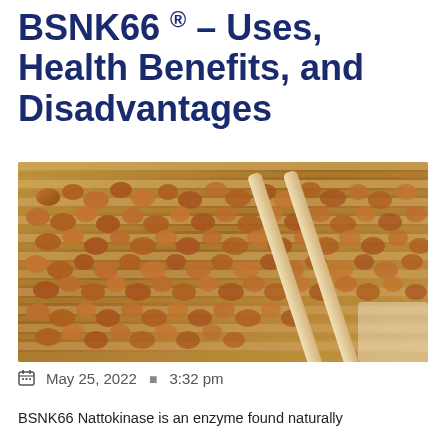BSNK66 ® – Uses, Health Benefits, and Disadvantages
[Figure (photo): Close-up photo of natto (fermented soybeans) on a bamboo tray with chopsticks resting on top]
May 25, 2022  ·  3:32 pm
BSNK66 Nattokinase is an enzyme found naturally